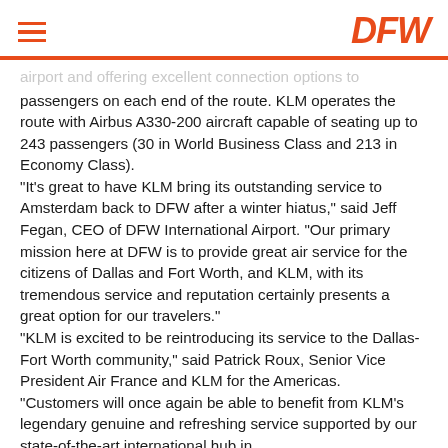DFW
airport and offering excellent connection options to passengers on each end of the route. KLM operates the route with Airbus A330-200 aircraft capable of seating up to 243 passengers (30 in World Business Class and 213 in Economy Class). "It's great to have KLM bring its outstanding service to Amsterdam back to DFW after a winter hiatus," said Jeff Fegan, CEO of DFW International Airport. "Our primary mission here at DFW is to provide great air service for the citizens of Dallas and Fort Worth, and KLM, with its tremendous service and reputation certainly presents a great option for our travelers." "KLM is excited to be reintroducing its service to the Dallas-Fort Worth community," said Patrick Roux, Senior Vice President Air France and KLM for the Americas. "Customers will once again be able to benefit from KLM's legendary genuine and refreshing service supported by our state-of-the-art international hub in